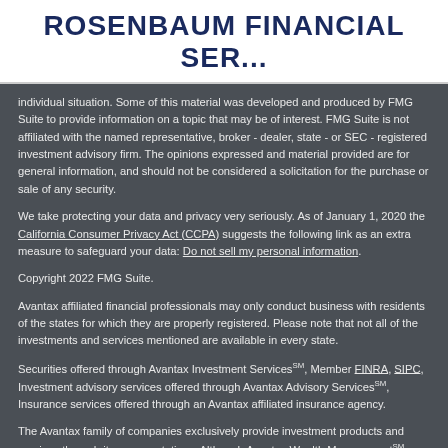ROSENBAUM FINANCIAL SER...
individual situation. Some of this material was developed and produced by FMG Suite to provide information on a topic that may be of interest. FMG Suite is not affiliated with the named representative, broker - dealer, state - or SEC - registered investment advisory firm. The opinions expressed and material provided are for general information, and should not be considered a solicitation for the purchase or sale of any security.
We take protecting your data and privacy very seriously. As of January 1, 2020 the California Consumer Privacy Act (CCPA) suggests the following link as an extra measure to safeguard your data: Do not sell my personal information.
Copyright 2022 FMG Suite.
Avantax affiliated financial professionals may only conduct business with residents of the states for which they are properly registered. Please note that not all of the investments and services mentioned are available in every state.
Securities offered through Avantax Investment ServicesSM, Member FINRA, SIPC, Investment advisory services offered through Avantax Advisory ServicesSM, Insurance services offered through an Avantax affiliated insurance agency.
The Avantax family of companies exclusively provide investment products and services through its representatives. Although Avantax Wealth ManagementSM does not provide tax or legal advice, or supervise tax, accounting or legal services,